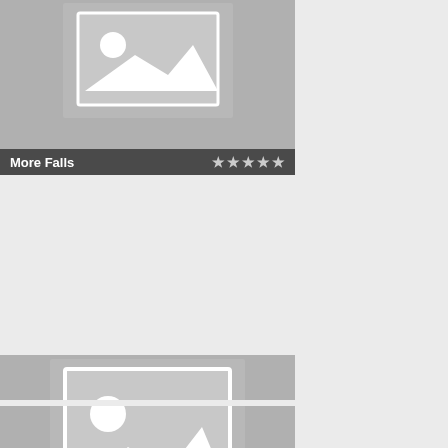[Figure (screenshot): Card widget showing a placeholder image (mountain/landscape icon) with label 'More Falls' and 5 star rating on dark background bar at bottom]
[Figure (screenshot): Card widget showing a placeholder image (mountain/landscape icon) with label 'HB & his Solong 6' and 5 star rating on dark background bar at bottom]
[Figure (screenshot): Card widget showing a placeholder image (mountain/landscape icon), partially visible at bottom of page, no label visible]